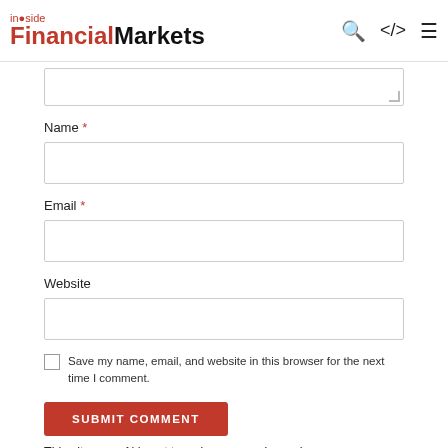inside Financial Markets
Name *
Email *
Website
Save my name, email, and website in this browser for the next time I comment.
SUBMIT COMMENT
This site uses Akismet to reduce spam. Learn how